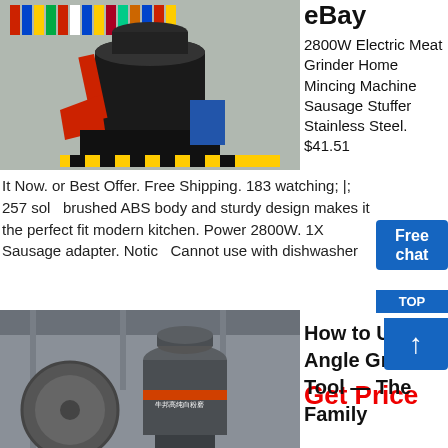[Figure (photo): Large industrial grinding/milling machine with red attachments, inside a factory building with flags in background]
eBay
2800W Electric Meat Grinder Home Mincing Machine Sausage Stuffer Stainless Steel. $41.51
It Now. or Best Offer. Free Shipping. 183 watching; |; 257 sold brushed ABS body and sturdy design makes it the perfect fit modern kitchen. Power 2800W. 1X Sausage adapter. Notice Cannot use with dishwasher
Get Price
[Figure (photo): Industrial angle grinder machine in a factory setting, grey metallic equipment with orange stripe]
How to Use an Angle Grinder Tool — The Family